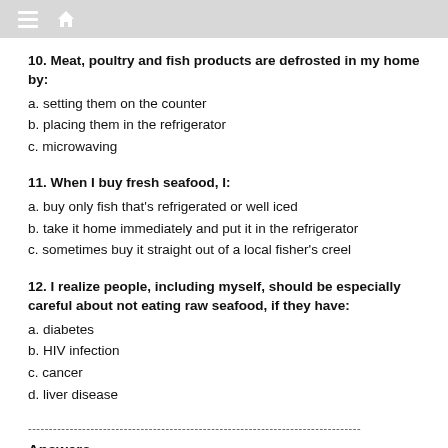≡ 🏠
10. Meat, poultry and fish products are defrosted in my home by:
a. setting them on the counter
b. placing them in the refrigerator
c. microwaving
11. When I buy fresh seafood, I:
a. buy only fish that's refrigerated or well iced
b. take it home immediately and put it in the refrigerator
c. sometimes buy it straight out of a local fisher's creel
12. I realize people, including myself, should be especially careful about not eating raw seafood, if they have:
a. diabetes
b. HIV infection
c. cancer
d. liver disease
--------------------------------------------------------------------------------
Answers